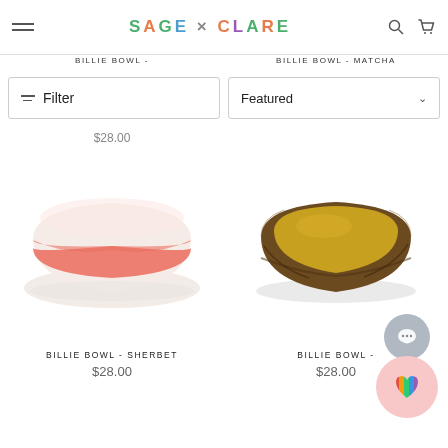SAGE × CLARE
BILLIE BOWL -
BILLIE BOWL - MATCHA
Filter
Featured
$28.00
[Figure (photo): Billie Bowl Sherbet - a ceramic bowl with white and coral/red glaze on a white background]
[Figure (photo): Billie Bowl - a dark brown/amber glazed ceramic bowl with yellow interior on white background]
BILLIE BOWL - SHERBET
$28.00
BILLIE BOWL -
$28.00